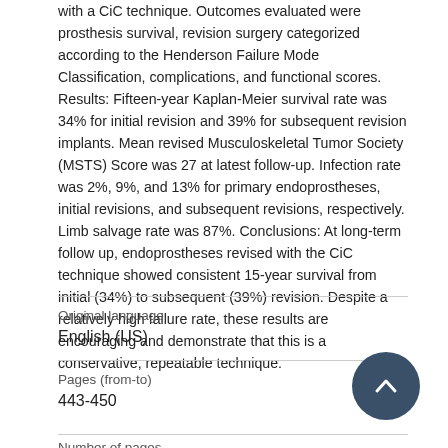with a CiC technique. Outcomes evaluated were prosthesis survival, revision surgery categorized according to the Henderson Failure Mode Classification, complications, and functional scores. Results: Fifteen-year Kaplan-Meier survival rate was 34% for initial revision and 39% for subsequent revision implants. Mean revised Musculoskeletal Tumor Society (MSTS) Score was 27 at latest follow-up. Infection rate was 2%, 9%, and 13% for primary endoprostheses, initial revisions, and subsequent revisions, respectively. Limb salvage rate was 87%. Conclusions: At long-term follow up, endoprostheses revised with the CiC technique showed consistent 15-year survival from initial (34%) to subsequent (39%) revision. Despite a relatively high failure rate, these results are encouraging and demonstrate that this is a conservative, repeatable technique.
| Field | Value |
| --- | --- |
| Original language | English (US) |
| Pages (from-to) | 443-450 |
| Number of pages |  |